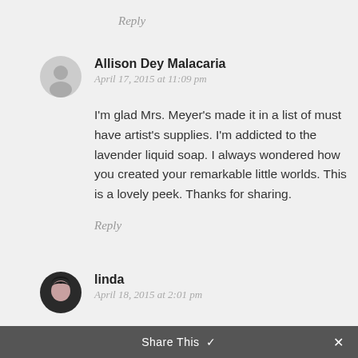Reply
Allison Dey Malacaria
April 17, 2015 at 11:09 pm
I'm glad Mrs. Meyer's made it in a list of must have artist's supplies. I'm addicted to the lavender liquid soap. I always wondered how you created your remarkable little worlds. This is a lovely peek. Thanks for sharing.
Reply
linda
April 18, 2015 at 2:01 pm
I agree that ultimately it doesn't take
Share This